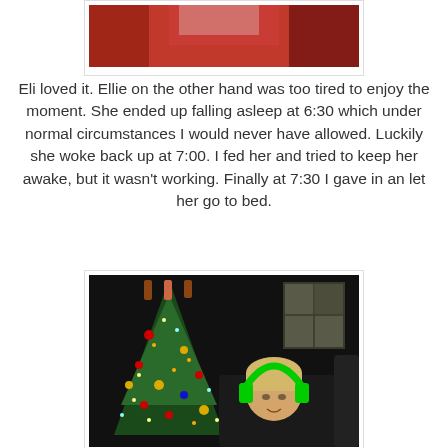[Figure (photo): Partial photo at top of page showing red fabric/tablecloth background, cropped]
Eli loved it.  Ellie on the other hand was too tired to enjoy the moment.  She ended up falling asleep at 6:30 which under normal circumstances I would never have allowed.  Luckily she woke back up at 7:00.  I fed her and tried to keep her awake, but it wasn't working.  Finally at 7:30 I gave in an let her go to bed.
[Figure (photo): Photo of a young blonde child wearing large green headphones sitting in front of a decorated Christmas tree with colorful ornaments and lights, dark room background with a window visible on the right]